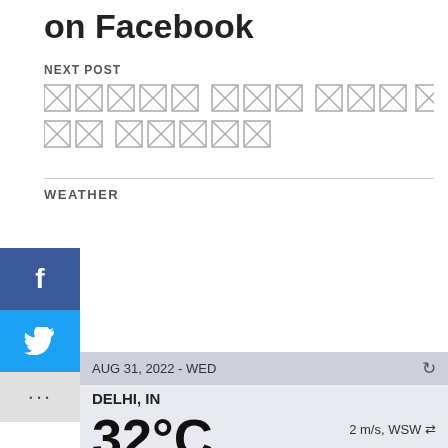on Facebook
NEXT POST
[placeholder text in non-Latin script]
WEATHER
AUG 31, 2022 - WED
DELHI, IN
32°C   scattered clouds   2 m/s, WSW   62%   756.06 mmHg
| WED 08/31 | THU 09/01 | FRI 09/02 | SAT 09/03 | SUN 09/04 |
| --- | --- | --- | --- | --- |